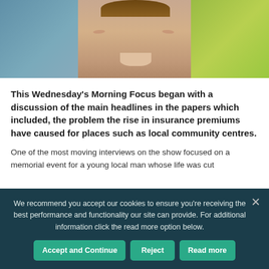[Figure (photo): Close-up photo of a young man's face, with blurred blue/grey background on the left and green foliage background on the right]
This Wednesday's Morning Focus began with a discussion of the main headlines in the papers which included, the problem the rise in insurance premiums have caused for places such as local community centres.
One of the most moving interviews on the show focused on a memorial event for a young local man whose life was cut
We recommend you accept our cookies to ensure you're receiving the best performance and functionality our site can provide. For additional information click the read more option below.